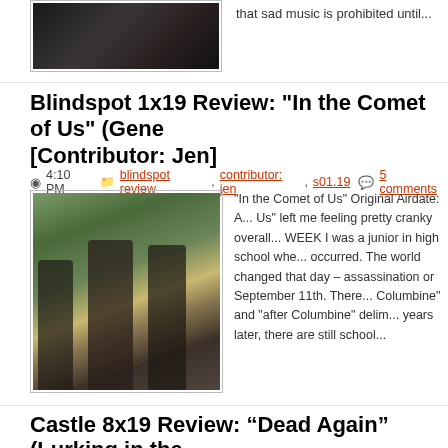[Figure (photo): Dark indoor scene, partial top of image visible]
that sad music is prohibited until...
Blindspot 1x19 Review: "In the Comet of Us" (Gene [Contributor: Jen]
4:10 PM  blindspot review, contributor: jen, s01.19  5 comments
[Figure (photo): Three people in outdoor campus area, one holding a gun]
"In the Comet of Us" Original Airdate: A... Us" left me feeling pretty cranky overall... WEEK I was a junior in high school whe... occurred. The world changed that day – assassination or September 11th. There... Columbine" and "after Columbine" delim... years later, there are still school...
Castle 8x19 Review: “Dead Again” (Lurking in the [Contributor: Hope]
8:57 AM  castle review, contributor: hope, s08.19  No comments